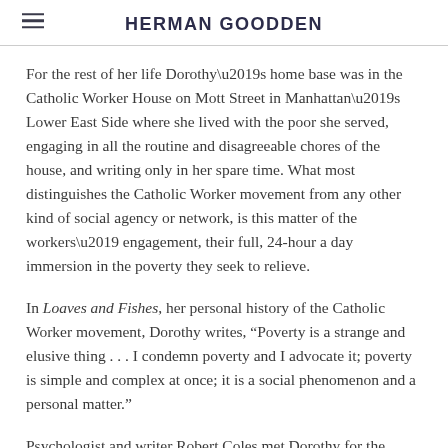HERMAN GOODDEN
For the rest of her life Dorothy’s home base was in the Catholic Worker House on Mott Street in Manhattan’s Lower East Side where she lived with the poor she served, engaging in all the routine and disagreeable chores of the house, and writing only in her spare time. What most distinguishes the Catholic Worker movement from any other kind of social agency or network, is this matter of the workers’ engagement, their full, 24-hour a day immersion in the poverty they seek to relieve.
In Loaves and Fishes, her personal history of the Catholic Worker movement, Dorothy writes, “Poverty is a strange and elusive thing . . . I condemn poverty and I advocate it; poverty is simple and complex at once; it is a social phenomenon and a personal matter.”
Psychologist and writer Robert Coles met Dorothy for the